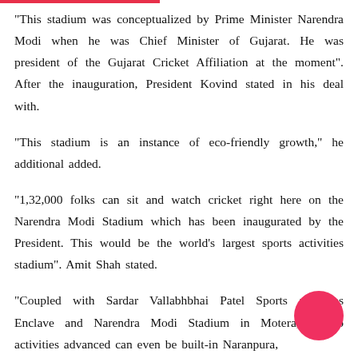"This stadium was conceptualized by Prime Minister Narendra Modi when he was Chief Minister of Gujarat. He was president of the Gujarat Cricket Affiliation at the moment". After the inauguration, President Kovind stated in his deal with.
"This stadium is an instance of eco-friendly growth," he additional added.
"1,32,000 folks can sit and watch cricket right here on the Narendra Modi Stadium which has been inaugurated by the President. This would be the world's largest sports activities stadium". Amit Shah stated.
"Coupled with Sardar Vallabhbhai Patel Sports activities Enclave and Narendra Modi Stadium in Motera, a spo activities advanced can even be built-in Naranpura,